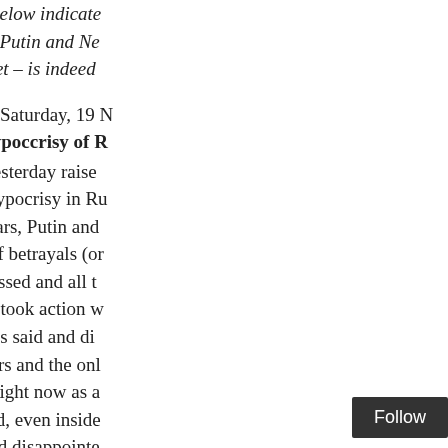Rights. The excerpt below indicate the obscene photo of Putin and N... they share a big secret – is indeed...
SEEMOREROCKS: Saturday, 19 N...
The Saker on the hypoccrisy of R...
The Saker's article yesterday raise and even a level of hypocrisy in Ru... Over the past few years, Putin and gloom and all sorts of betrayals (or Russia. Then time passed and all t talking, the Russians took action w however, the Russians said and di fuel to the Putin-haters and the onl prove them wrong. Right now as a Russia looks very bad, even inside confused, worried and disappointe Externally, the Syrian and, especia the fact that Russia